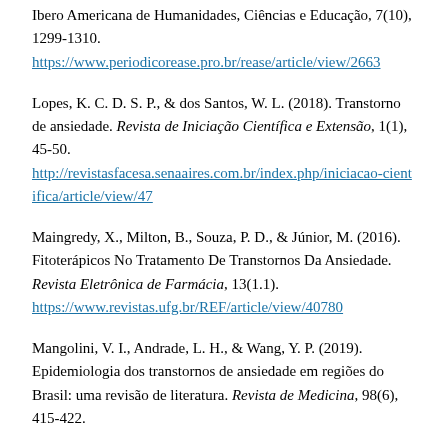Ibero Americana de Humanidades, Ciências e Educação, 7(10), 1299-1310. https://www.periodicorease.pro.br/rease/article/view/2663
Lopes, K. C. D. S. P., & dos Santos, W. L. (2018). Transtorno de ansiedade. Revista de Iniciação Científica e Extensão, 1(1), 45-50. http://revistasfacesa.senaaires.com.br/index.php/iniciacao-cientifica/article/view/47
Maingredy, X., Milton, B., Souza, P. D., & Júnior, M. (2016). Fitoterápicos No Tratamento De Transtornos Da Ansiedade. Revista Eletrônica de Farmácia, 13(1.1). https://www.revistas.ufg.br/REF/article/view/40780
Mangolini, V. I., Andrade, L. H., & Wang, Y. P. (2019). Epidemiologia dos transtornos de ansiedade em regiões do Brasil: uma revisão de literatura. Revista de Medicina, 98(6), 415-422.